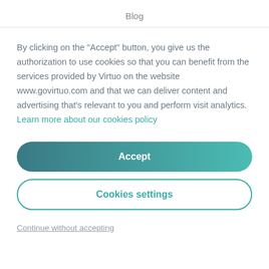Blog
By clicking on the "Accept" button, you give us the authorization to use cookies so that you can benefit from the services provided by Virtuo on the website www.govirtuo.com and that we can deliver content and advertising that's relevant to you and perform visit analytics. Learn more about our cookies policy
Accept
Cookies settings
Continue without accepting